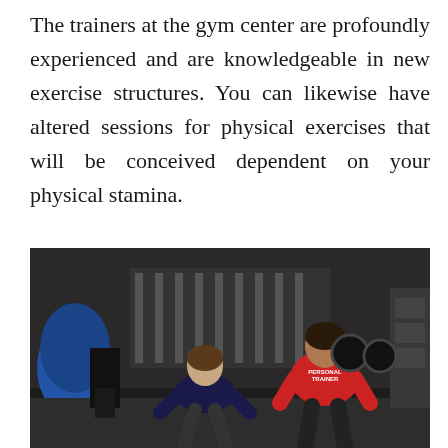The trainers at the gym center are profoundly experienced and are knowledgeable in new exercise structures. You can likewise have altered sessions for physical exercises that will be conceived dependent on your physical stamina.
[Figure (photo): A gym training session showing a client exercising while a personal trainer in a red shirt observes. Exercise equipment and gym balls visible in the background.]